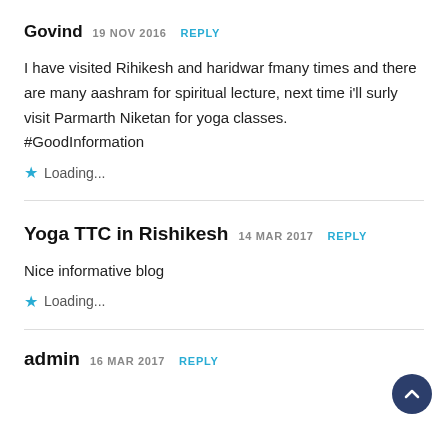Govind 19 NOV 2016 REPLY
I have visited Rihikesh and haridwar fmany times and there are many aashram for spiritual lecture, next time i'll surly visit Parmarth Niketan for yoga classes.
#GoodInformation
Loading...
Yoga TTC in Rishikesh 14 MAR 2017 REPLY
Nice informative blog
Loading...
admin 16 MAR 2017 REPLY